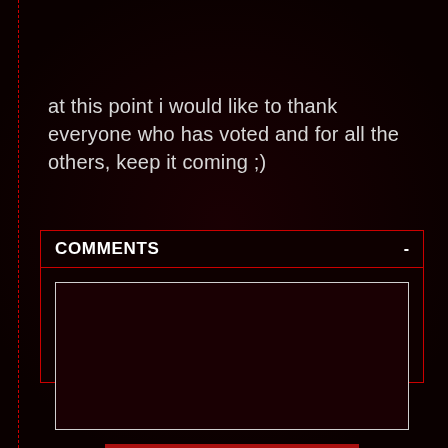at this point i would like to thank everyone who has voted and for all the others, keep it coming ;)
COMMENTS -
[Figure (screenshot): Comments section UI with a text area input box and a POST COMMENT button, styled with dark red/black theme and red border]